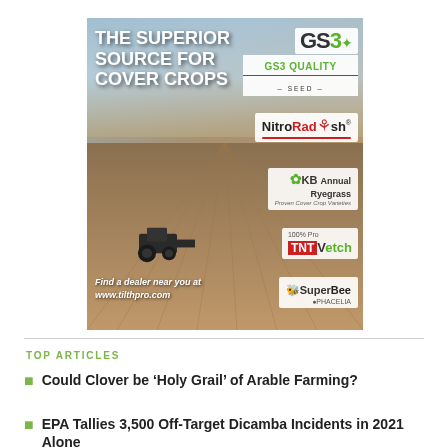[Figure (advertisement): GS3 Quality Seed advertisement for cover crops featuring farm field background, tractor, and product logos including NitroRadish, KB Annual Ryegrass, TNT Vetch, and SuperBee Phacelia. Text reads 'THE SUPERIOR SOURCE FOR COVER CROPS' and 'Find a dealer near you at www.tilthpro.com']
TOP ARTICLES
Could Clover be ‘Holy Grail’ of Arable Farming?
EPA Tallies 3,500 Off-Target Dicamba Incidents in 2021 Alone